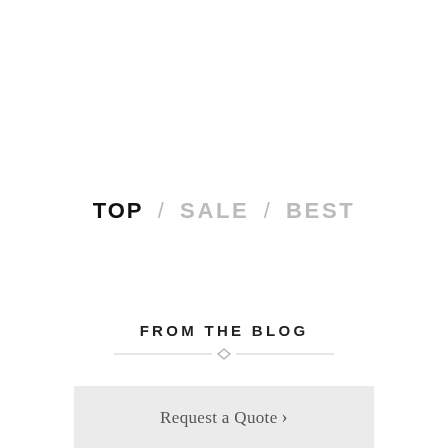TOP / SALE / BEST
FROM THE BLOG
Request a Quote ›